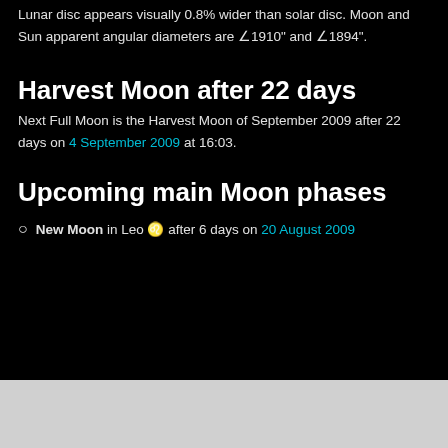Lunar disc appears visually 0.8% wider than solar disc. Moon and Sun apparent angular diameters are ∠1910" and ∠1894".
Harvest Moon after 22 days
Next Full Moon is the Harvest Moon of September 2009 after 22 days on 4 September 2009 at 16:03.
Upcoming main Moon phases
New Moon in Leo ♌ after 6 days on 20 August 2009